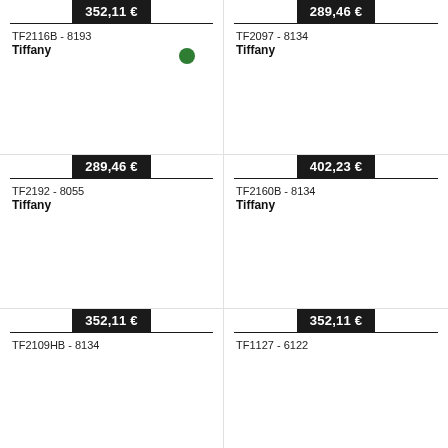352,11 € — TF2116B - 8193 — Tiffany
289,46 € — TF2097 - 8134 — Tiffany
289,46 € — TF2192 - 8055 — Tiffany
402,23 € — TF2160B - 8134 — Tiffany
352,11 € — TF2109HB - 8134
352,11 € — TF1127 - 6122